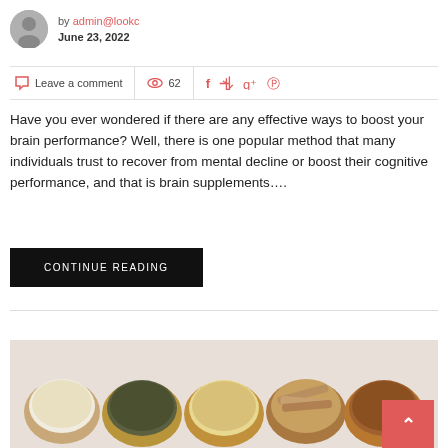by admin@lookc
June 23, 2022
Leave a comment   62
Have you ever wondered if there are any effective ways to boost your brain performance? Well, there is one popular method that many individuals trust to recover from mental decline or boost their cognitive performance, and that is brain supplements….
CONTINUE READING
[Figure (photo): Wooden bowls filled with various spices and herbs on a light surface, viewed from above.]